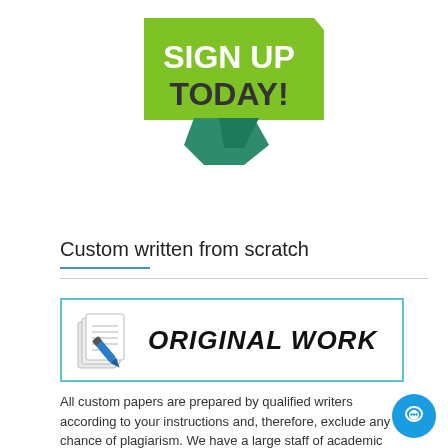[Figure (logo): Green 'SIGN UP TODAY!' banner/logo with speech bubble shape and teal accent ribbon below]
Custom written from scratch
[Figure (infographic): Box with cyan border showing a stack of papers with blue pen icon on the left and bold italic text 'ORIGINAL WORK' on the right]
All custom papers are prepared by qualified writers according to your instructions and, therefore, exclude any chance of plagiarism. We have a large staff of academic writers,